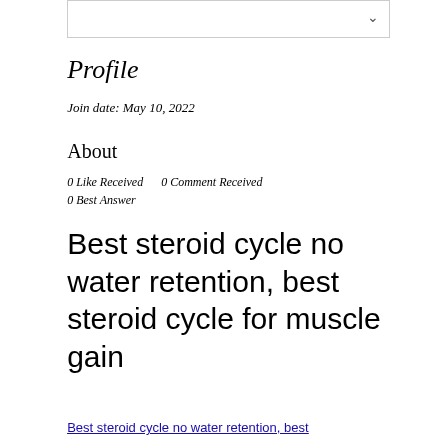Profile
Join date: May 10, 2022
About
0 Like Received    0 Comment Received
0 Best Answer
Best steroid cycle no water retention, best steroid cycle for muscle gain
Best steroid cycle no water retention, best